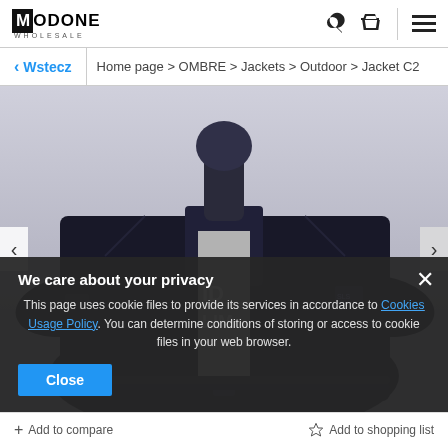[Figure (logo): Modone Wholesale logo — black M in box followed by ODONE text, with WHOLESALE subtitle]
[Figure (screenshot): E-commerce product page screenshot showing a black bomber jacket on a mannequin, with navigation arrows on left and right sides]
Home page > OMBRE > Jackets > Outdoor > Jacket C2
< Wstecz
We care about your privacy
This page uses cookie files to provide its services in accordance to Cookies Usage Policy. You can determine conditions of storing or access to cookie files in your web browser.
Close
+ Add to compare
Add to shopping list